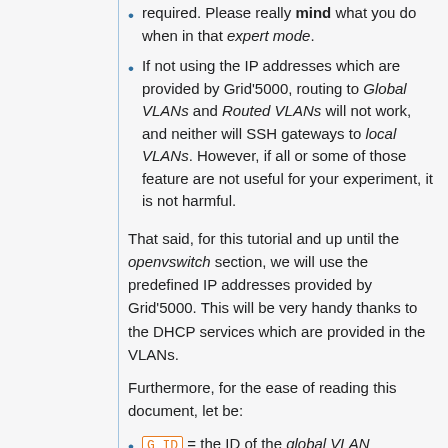required. Please really mind what you do when in that expert mode.
If not using the IP addresses which are provided by Grid'5000, routing to Global VLANs and Routed VLANs will not work, and neither will SSH gateways to local VLANs. However, if all or some of those feature are not useful for your experiment, it is not harmful.
That said, for this tutorial and up until the openvswitch section, we will use the predefined IP addresses provided by Grid'5000. This will be very handy thanks to the DHCP services which are provided in the VLANs.
Furthermore, for the ease of reading this document, let be:
G_ID = the ID of the global VLAN